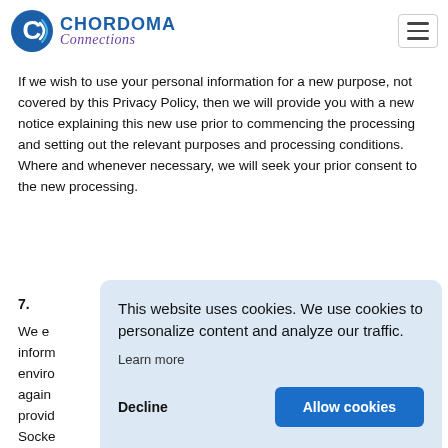[Figure (logo): Chordoma Connections logo with circular blue C icon and text 'CHORDOMA Connections' in blue and purple]
If we wish to use your personal information for a new purpose, not covered by this Privacy Policy, then we will provide you with a new notice explaining this new use prior to commencing the processing and setting out the relevant purposes and processing conditions. Where and whenever necessary, we will seek your prior consent to the new processing.
7.
We e
inform
envirc
again
provid
Socke
method of transmitting or storing data is completely secure. As a
This website uses cookies. We use cookies to personalize content and analyze our traffic.
Learn more
Decline    Allow cookies